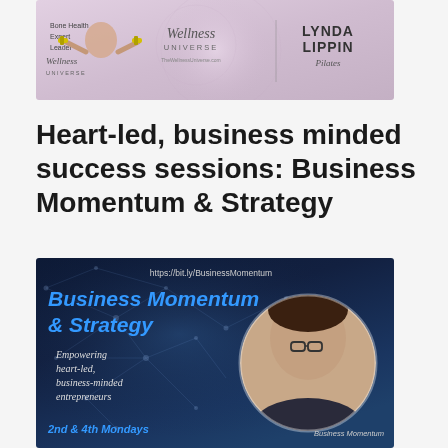[Figure (illustration): Wellness Universe promotional banner featuring a person holding dumbbells, Wellness Universe logo in center, and Lynda Lippin Pilates branding on the right, with purple/mauve background]
Heart-led, business minded success sessions: Business Momentum & Strategy
[Figure (illustration): Business Momentum & Strategy promotional image with dark blue network/tech background. URL https://bit.ly/BusinessMomentum at top. Large blue italic bold text 'Business Momentum & Strategy'. Left side text: 'Empowering heart-led, business-minded entrepreneurs'. Bottom left: '2nd & 4th Mondays'. Right side: circular portrait photo of a woman with short dark hair and glasses smiling. Bottom right: 'Business Momentum' caption.]